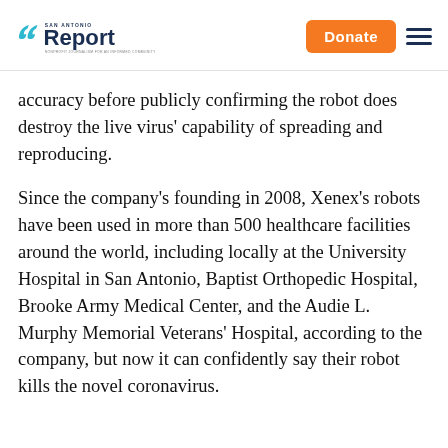San Antonio Report — Donate
accuracy before publicly confirming the robot does destroy the live virus' capability of spreading and reproducing.
Since the company's founding in 2008, Xenex's robots have been used in more than 500 healthcare facilities around the world, including locally at the University Hospital in San Antonio, Baptist Orthopedic Hospital, Brooke Army Medical Center, and the Audie L. Murphy Memorial Veterans' Hospital, according to the company, but now it can confidently say their robot kills the novel coronavirus.